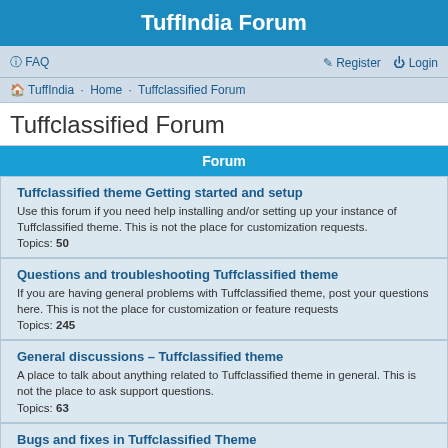TuffIndia Forum
FAQ  Register  Login
TuffIndia · Home · Tuffclassified Forum
Tuffclassified Forum
Forum
Tuffclassified theme Getting started and setup
Use this forum if you need help installing and/or setting up your instance of Tuffclassified theme. This is not the place for customization requests.
Topics: 50
Questions and troubleshooting Tuffclassified theme
If you are having general problems with Tuffclassified theme, post your questions here. This is not the place for customization or feature requests
Topics: 245
General discussions – Tuffclassified theme
A place to talk about anything related to Tuffclassified theme in general. This is not the place to ask support questions.
Topics: 63
Bugs and fixes in Tuffclassified Theme
Please post bugs you have found in tuffclassified theme. If you have fix for that post it too.
Do not post anything else, issue related to third party plugins should not be posted here.
Topics: 79